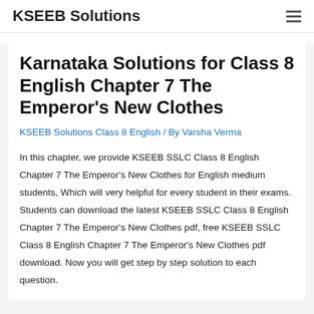KSEEB Solutions
Karnataka Solutions for Class 8 English Chapter 7 The Emperor's New Clothes
KSEEB Solutions Class 8 English / By Varsha Verma
In this chapter, we provide KSEEB SSLC Class 8 English Chapter 7 The Emperor's New Clothes for English medium students, Which will very helpful for every student in their exams. Students can download the latest KSEEB SSLC Class 8 English Chapter 7 The Emperor's New Clothes pdf, free KSEEB SSLC Class 8 English Chapter 7 The Emperor's New Clothes pdf download. Now you will get step by step solution to each question.